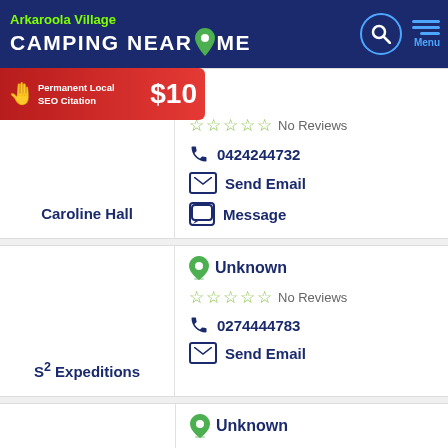Arkaroola Village | CAMPING NEAR ME
[Figure (screenshot): Ad banner: Permanent Local SEO Citation $10]
No Reviews
0424244732
Send Email
Message
Caroline Hall
Unknown
No Reviews
0274444783
Send Email
S² Expeditions
Unknown
No Reviews